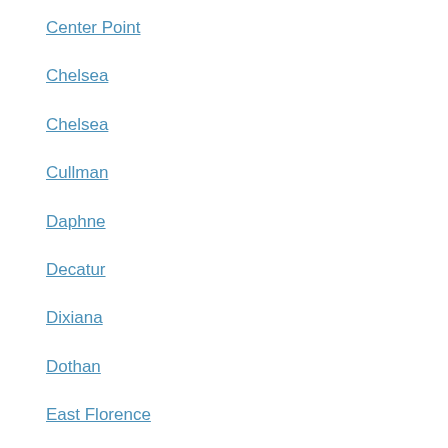Center Point
Chelsea
Chelsea
Cullman
Daphne
Decatur
Dixiana
Dothan
East Florence
East Gadsden